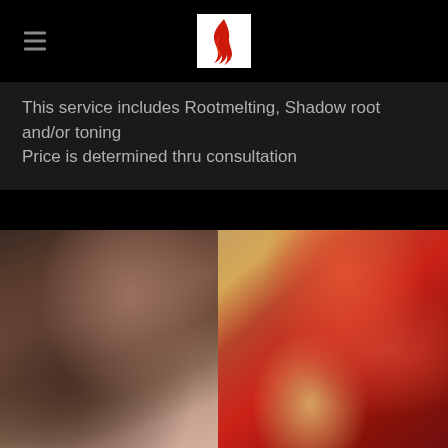[Logo: hair salon fire logo with hamburger menu]
This service includes Rootmelting, Shadow root and/or toning
Price is determined thru consultation
[Figure (photo): Before and after hair color transformation. Left side shows dark brown hair before, right side shows vibrant red bob hairstyle after.]